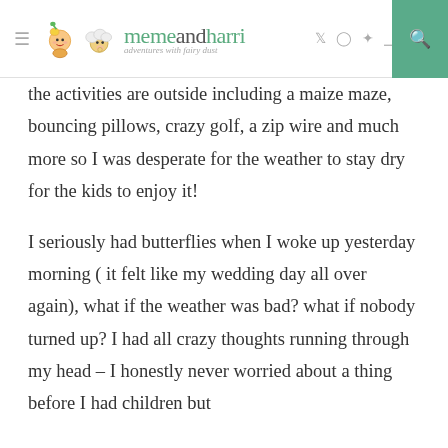memeandharri - adventures with fairy dust
the activities are outside including a maize maze, bouncing pillows, crazy golf, a zip wire and much more so I was desperate for the weather to stay dry for the kids to enjoy it!
I seriously had butterflies when I woke up yesterday morning ( it felt like my wedding day all over again), what if the weather was bad? what if nobody turned up? I had all crazy thoughts running through my head – I honestly never worried about a thing before I had children but